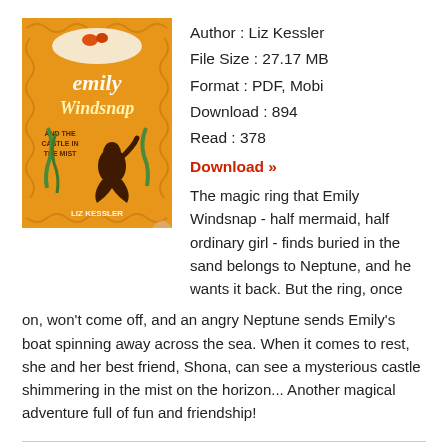[Figure (illustration): Book cover of 'Emily Windsnap and the Castle in the Mist' by Liz Kessler, featuring a mermaid silhouette against an orange decorative background with swirl patterns and the title in stylized text.]
Author : Liz Kessler
File Size : 27.17 MB
Format : PDF, Mobi
Download : 894
Read : 378
Download »
The magic ring that Emily Windsnap - half mermaid, half ordinary girl - finds buried in the sand belongs to Neptune, and he wants it back. But the ring, once on, won't come off, and an angry Neptune sends Emily's boat spinning away across the sea. When it comes to rest, she and her best friend, Shona, can see a mysterious castle shimmering in the mist on the horizon... Another magical adventure full of fun and friendship!
Emily Windsnap and the Ship of